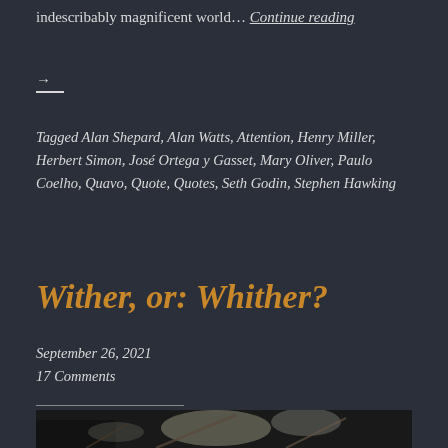indescribably magnificent world… Continue reading →
Tagged Alan Shepard, Alan Watts, Attention, Henry Miller, Herbert Simon, José Ortega y Gasset, Mary Oliver, Paulo Coelho, Quavo, Quote, Quotes, Seth Godin, Stephen Hawking
Wither, or: Whither?
September 26, 2021
17 Comments
[Figure (photo): Dark blurry photograph of white birds (possibly egrets or herons) perched on branches against a dark background]